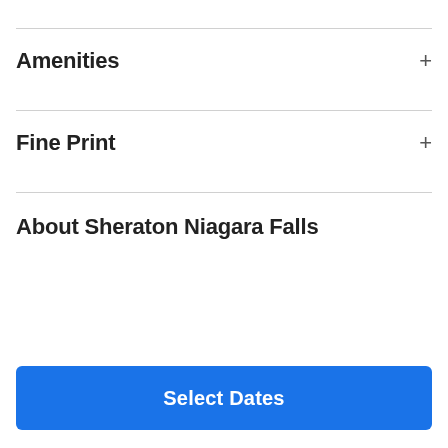Hotel Description
Amenities
Fine Print
About Sheraton Niagara Falls
Select Dates